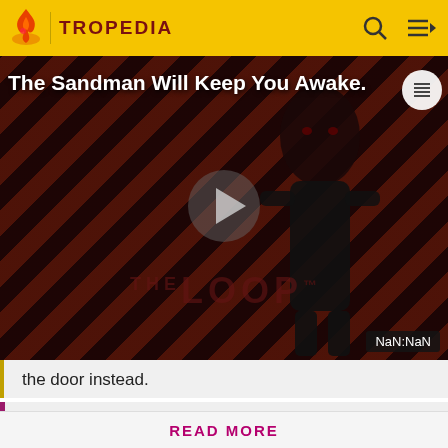TROPEDIA
[Figure (screenshot): Video thumbnail with dark diagonal stripe background, a shadowy figure in black, text overlay 'The Sandman Will Keep You Awake.' and a play button in the center. 'THE LOOP' text watermark visible at bottom. NaN:NaN time badge in bottom-right corner.]
the door instead.
Before making a single edit, Tropedia EXPECTS our site policy and manual of style to be followed. Failure to do so may
READ MORE